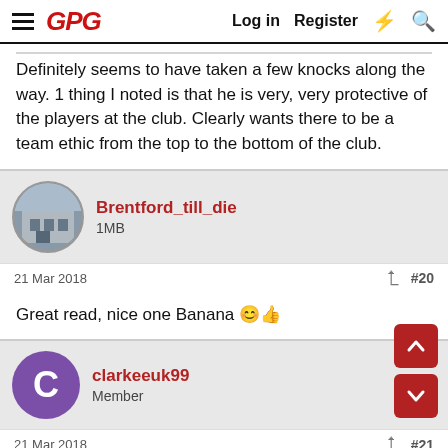GPG — Log in  Register
Definitely seems to have taken a few knocks along the way. 1 thing I noted is that he is very, very protective of the players at the club. Clearly wants there to be a team ethic from the top to the bottom of the club.
Brentford_till_die
1MB
21 Mar 2018  #20
Great read, nice one Banana 😊👍
clarkeeuk99
Member
21 Mar 2018  #21